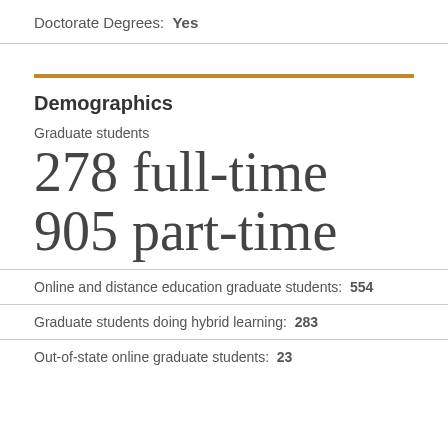Doctorate Degrees: Yes
Demographics
Graduate students
278 full-time
905 part-time
Online and distance education graduate students: 554
Graduate students doing hybrid learning: 283
Out-of-state online graduate students: 23